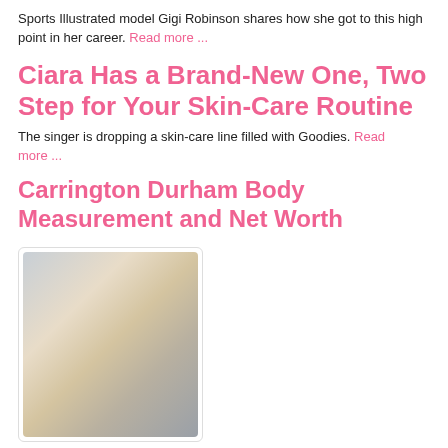Sports Illustrated model Gigi Robinson shares how she got to this high point in her career. Read more ...
Ciara Has a Brand-New One, Two Step for Your Skin-Care Routine
The singer is dropping a skin-care line filled with Goodies. Read more ...
Carrington Durham Body Measurement and Net Worth
[Figure (photo): Photo of a young blonde woman smiling, with long wavy blonde hair, wearing a casual outfit.]
A number of ordinary people have been able to become famous